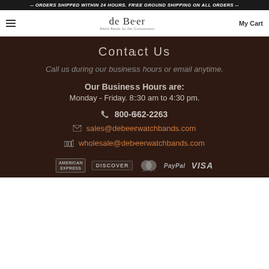-- ORDERS SHIPPED WITHIN 24 HOURS. FREE GROUND SHIPPING ON ALL ORDERS --
[Figure (logo): de Beer Watch Bands for the Connoisseur logo with hamburger menu and My Cart link]
Contact Us
Call us during our business hours or email anytime.
Our Business Hours are:
Monday - Friday. 8:30 am to 4:30 pm.
800-662-2263
sales@debeerwatchbands.com
wholesale@debeerwatchbands.com
[Figure (logo): Payment method logos: American Express, Discover, MasterCard, PayPal, VISA]